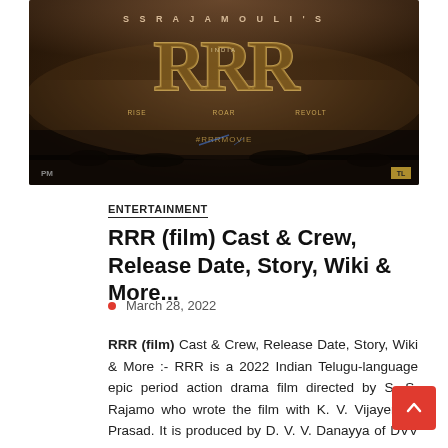[Figure (photo): RRR movie poster showing SS Rajamouli's RRR film with large stylized RRR text, Rise Roar Revolt tagline, #RRRMOVIE hashtag, characters in dramatic poses against dark atmospheric background]
ENTERTAINMENT
RRR (film) Cast & Crew, Release Date, Story, Wiki & More...
March 28, 2022
RRR (film) Cast & Crew, Release Date, Story, Wiki & More :- RRR is a 2022 Indian Telugu-language epic period action drama film directed by S. S. Rajamo who wrote the film with K. V. Vijayendra Prasad. It is produced by D. V. V. Danayya of DVV Entertainments